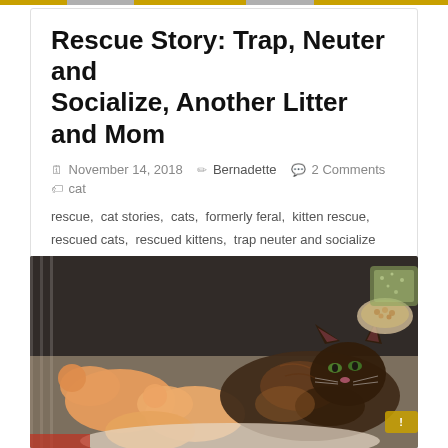Rescue Story: Trap, Neuter and Socialize, Another Litter and Mom
November 14, 2018  Bernadette  2 Comments  cat rescue, cat stories, cats, formerly feral, kitten rescue, rescued cats, rescued kittens, trap neuter and socialize
“Mariposa passed her first test of socialization—messing up the neatly-made bed! I’ll be sharing more photos, but right now I’m
Read more
[Figure (photo): A tortoiseshell mother cat lying with several orange/cream kittens nursing, in what appears to be a cage or crate environment with a food bowl and litter visible]